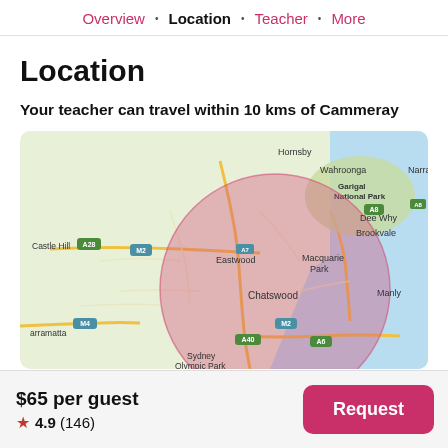Overview · Location · Teacher · More
Location
Your teacher can travel within 10 kms of Cammeray
[Figure (map): Google Maps view of Sydney area showing a pink/red circular coverage radius of 10 km centered around Cammeray/Chatswood area. Visible suburbs include Hornsby, Wahroonga, Garigal National Park, Narrabeen, Castle Hill, Dee Why, Brookvale, Macquarie Park, Eastwood, Chatswood, Manly, Parramatta, Sydney Olympic Park.]
$65 per guest
★ 4.9 (146)
Request